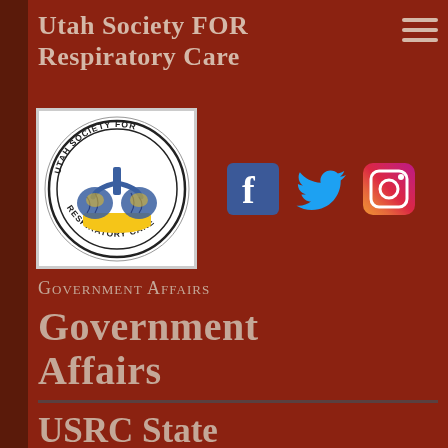Utah Society FOR Respiratory Care
[Figure (logo): Utah Society for Respiratory Care circular logo with lungs and airways illustration, blue and yellow colors on white background]
[Figure (infographic): Social media icons: Facebook (blue square with f), Twitter (blue bird), Instagram (gradient camera icon)]
Government Affairs
Government Affairs
USRC State Advocacy
H.B. 176 (Passed 1st Chamber –